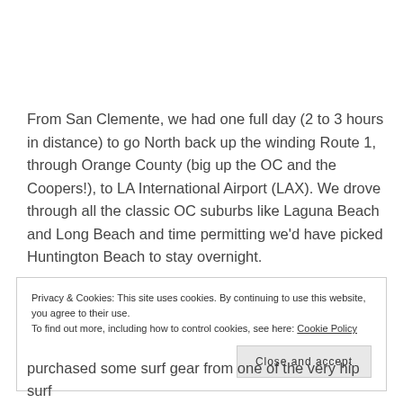From San Clemente, we had one full day (2 to 3 hours in distance) to go North back up the winding Route 1, through Orange County (big up the OC and the Coopers!), to LA International Airport (LAX). We drove through all the classic OC suburbs like Laguna Beach and Long Beach and time permitting we'd have picked Huntington Beach to stay overnight.
Privacy & Cookies: This site uses cookies. By continuing to use this website, you agree to their use. To find out more, including how to control cookies, see here: Cookie Policy
Close and accept
purchased some surf gear from one of the very hip surf